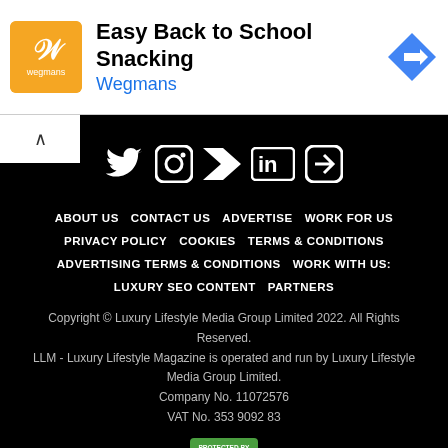[Figure (infographic): Advertisement banner for Wegmans Easy Back to School Snacking with orange logo icon and blue navigation arrow]
[Figure (infographic): Social media icons: Twitter, Instagram, Flipboard, LinkedIn, and News app icon in white on black background]
ABOUT US   CONTACT US   ADVERTISE   WORK FOR US   PRIVACY POLICY   COOKIES   TERMS & CONDITIONS   ADVERTISING TERMS & CONDITIONS   WORK WITH US:   LUXURY SEO CONTENT   PARTNERS
Copyright © Luxury Lifestyle Media Group Limited 2022. All Rights Reserved.
LLM - Luxury Lifestyle Magazine is operated and run by Luxury Lifestyle Media Group Limited.
Company No. 11072576
VAT No. 353 9092 83
[Figure (logo): Protected by badge with lock icon on green background]